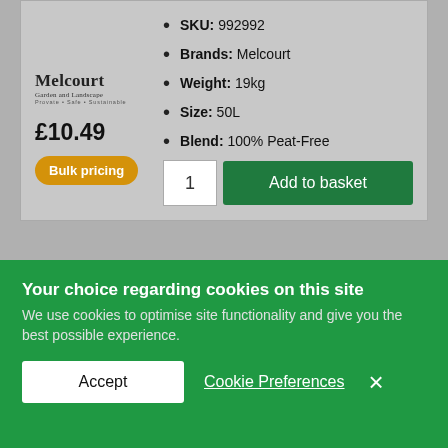SKU: 992992
Brands: Melcourt
Weight: 19kg
Size: 50L
Blend: 100% Peat-Free
£10.49
Bulk pricing
1
Add to basket
Timber Railway Sleeper Screws | Hex Head | Timco
Your choice regarding cookies on this site
We use cookies to optimise site functionality and give you the best possible experience.
Accept
Cookie Preferences
×